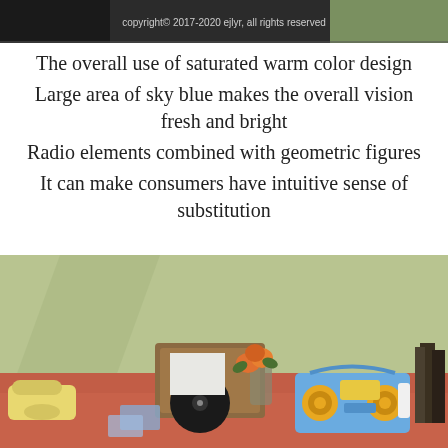[Figure (photo): Top strip showing a dark image with copyright text 'copyright© 2017-2020 ejlyr, all rights reserved' on a dark/olive background]
The overall use of saturated warm color design
Large area of sky blue makes the overall vision fresh and bright
Radio elements combined with geometric figures
It can make consumers have intuitive sense of substitution
[Figure (photo): Photo of a retro-style scene on a terracotta/orange table with a sage green wall background. Items include: yellow rotary telephone, vinyl record player in open brown case, vase with orange roses, blue boombox radio with yellow speakers, and dark books on the right side.]